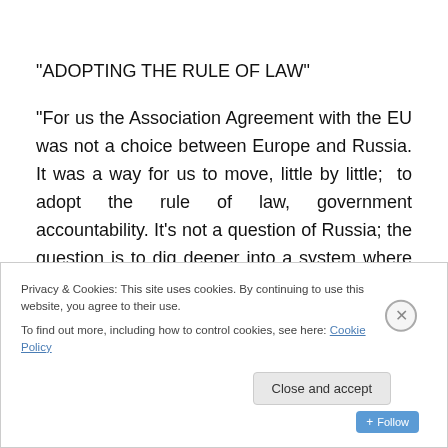“ADOPTING THE RULE OF LAW”
“For us the Association Agreement with the EU was not a choice between Europe and Russia. It was a way for us to move, little by little;  to adopt the rule of law, government accountability. It’s not a question of Russia; the question is to dig deeper into a system where justice is corrupt, where
Privacy & Cookies: This site uses cookies. By continuing to use this website, you agree to their use.
To find out more, including how to control cookies, see here: Cookie Policy
Close and accept